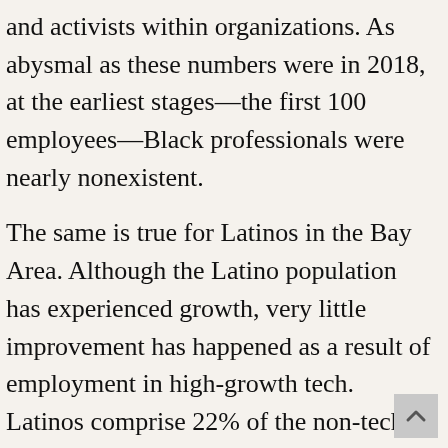and activists within organizations. As abysmal as these numbers were in 2018, at the earliest stages—the first 100 employees—Black professionals were nearly nonexistent.
The same is true for Latinos in the Bay Area. Although the Latino population has experienced growth, very little improvement has happened as a result of employment in high-growth tech. Latinos comprise 22% of the non-tech working population in San Francisco, but have less than 6% representation in tech.[11] Many large employers in the tech sector have seen a plateau in the number of Latino employees inside their organizations, with some companies also posting